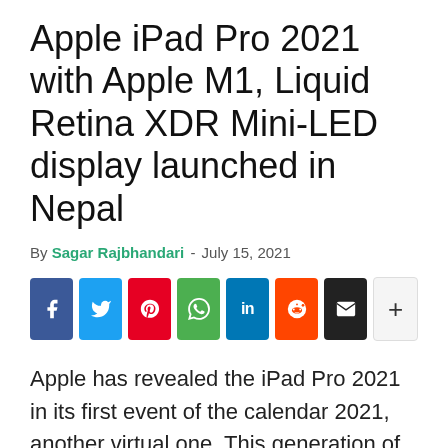Apple iPad Pro 2021 with Apple M1, Liquid Retina XDR Mini-LED display launched in Nepal
By Sagar Rajbhandari - July 15, 2021
[Figure (infographic): Social media share buttons: Facebook, Twitter, Pinterest, WhatsApp, LinkedIn, Reddit, Email, and a plus button]
Apple has revealed the iPad Pro 2021 in its first event of the calendar 2021, another virtual one. This generation of iPad Pro is something far advanced and powerful then last year's iPad Pro. Most interestingly, there's up to 16 GB of RAM and up to 2 TB of internal storage with powerful M1 chip.